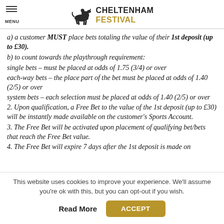CHELTENHAM FESTIVAL
a) a customer MUST place bets totaling the value of their 1st deposit (up to £30).
b) to count towards the playthrough requirement:
single bets – must be placed at odds of 1.75 (3/4) or over
each-way bets – the place part of the bet must be placed at odds of 1.40 (2/5) or over
system bets – each selection must be placed at odds of 1.40 (2/5) or over
2. Upon qualification, a Free Bet to the value of the 1st deposit (up to £30) will be instantly made available on the customer's Sports Account.
3. The Free Bet will be activated upon placement of qualifying bet/bets that reach the Free Bet value.
4. The Free Bet will expire 7 days after the 1st deposit is made on
This website uses cookies to improve your experience. We'll assume you're ok with this, but you can opt-out if you wish.
Read More  ACCEPT